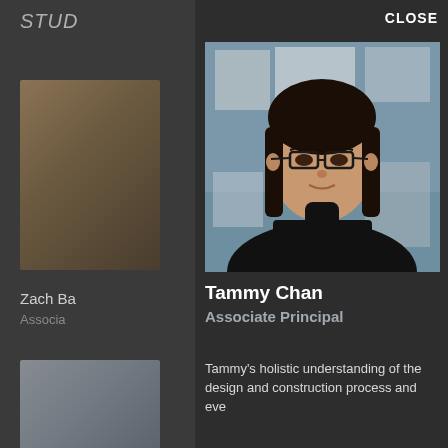STUD
[Figure (photo): Thumbnail image partially visible in left sidebar]
Zach Ba
Associa
[Figure (photo): Second thumbnail partially visible in left sidebar]
CLOSE
[Figure (photo): Profile photo of Tammy Chan, a woman with dark hair, glasses, wearing black, in an office with architectural drawings in background]
Tammy Chan
Associate Principal
Tammy's holistic understanding of the design and construction process and eve